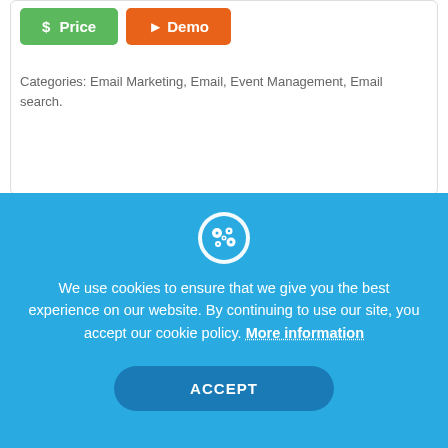$ Price   Demo
Categories: Email Marketing, Email, Event Management, Email search.
COMPARE SPECIFICATIONS
Lookeen Specifications
ITClick Score:   70/100
We use cookies to ensure that we give you the best experience on our website. By continuing to use our site, you accept our cookie policy. More information
ACCEPT